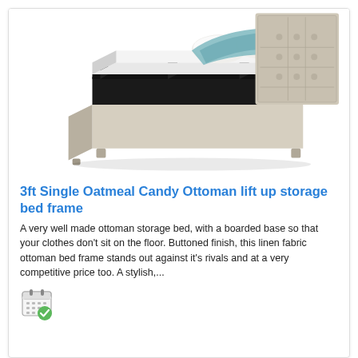[Figure (photo): Oatmeal fabric ottoman storage bed frame with lift-up base revealing storage compartment, tufted headboard, white pillows and teal throw blanket]
3ft Single Oatmeal Candy Ottoman lift up storage bed frame
A very well made ottoman storage bed, with a boarded base so that your clothes don't sit on the floor. Buttoned finish, this linen fabric ottoman bed frame stands out against it's rivals and at a very competitive price too. A stylish,...
[Figure (illustration): Calendar icon with green checkmark]